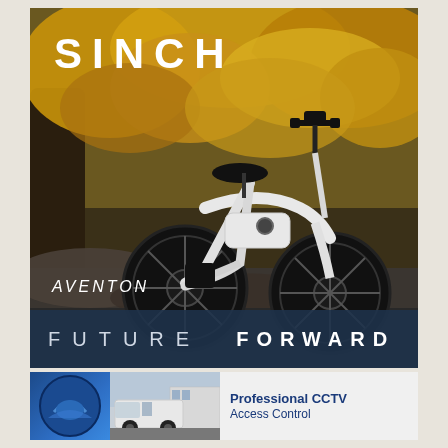[Figure (photo): Advertisement for Aventon Sinch electric fat-tire folding bike. White electric bicycle with large black fat tires photographed outdoors against autumn foliage (golden yellow leaves) and rocky background. Text overlay: 'SINCH' in large bold white letters at top left, 'AVENTON' in white italic letters lower left, and 'FUTURE FORWARD' in white spaced letters on a dark blue-grey bar at the bottom. Brand tagline: FUTURE FORWARD.]
SINCH
AVENTON
FUTURE FORWARD
[Figure (photo): Bottom advertisement strip showing a company logo (blue circle/shield shape) on the left, a photo of a van or vehicle in the center, and text 'Professional CCTV Access Control' on the right in dark blue.]
Professional CCTV Access Control